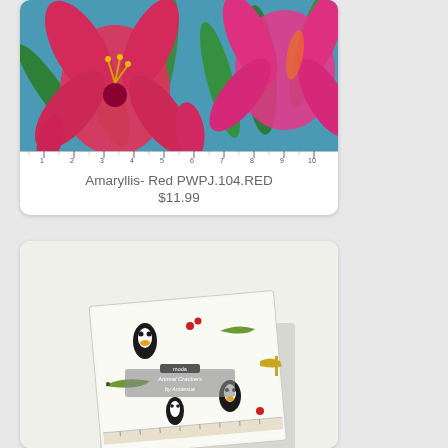[Figure (photo): Product photo of floral fabric - Amaryllis Red with pink/red amaryllis flowers on teal/blue background, with a ruler along the bottom edge]
Amaryllis- Red PWPJ.104.RED
$11.99
[Figure (photo): Product photo of Animal Crackers fabric layer cake / charm pack with penguin and animal illustrations on white background]